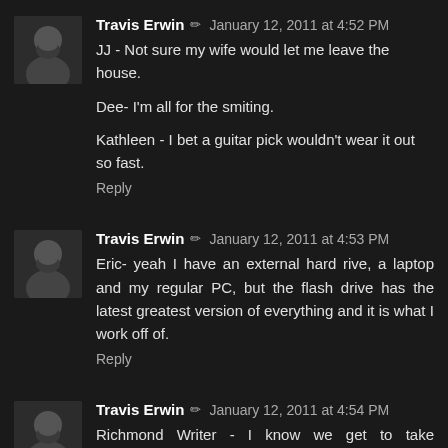Travis Erwin ✏ January 12, 2011 at 4:52 PM
JJ - Not sure my wife would let me leave the house.

Dee- I'm all for the smiting.

Kathleen - I bet a guitar pick wouldn't wear it out so fast.
Reply
Travis Erwin ✏ January 12, 2011 at 4:53 PM
Eric- yeah I have an external hard rive, a laptop and my regular PC, but the flash drive has the latest greatest version of everything and it is what I work off of.
Reply
Travis Erwin ✏ January 12, 2011 at 4:54 PM
Richmond Writer - I know we get to take communion first so I should be good on having wine left unless my fellow